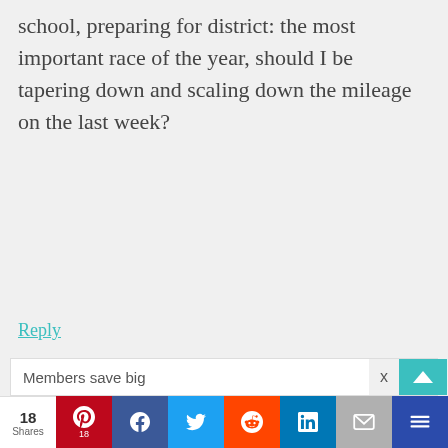school, preparing for district: the most important race of the year, should I be tapering down and scaling down the mileage on the last week?
Reply
Holly says
October 14, 2013 at 9:04 PM
Joshua I think you should ask your
Members save big
18 Shares | Pinterest | Facebook | Twitter | Reddit | LinkedIn | Email | More